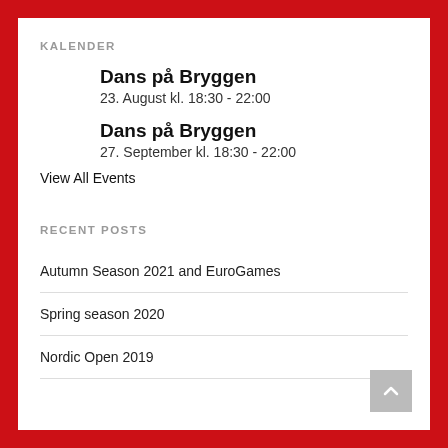KALENDER
Dans på Bryggen
23. August kl. 18:30 - 22:00
Dans på Bryggen
27. September kl. 18:30 - 22:00
View All Events
RECENT POSTS
Autumn Season 2021 and EuroGames
Spring season 2020
Nordic Open 2019